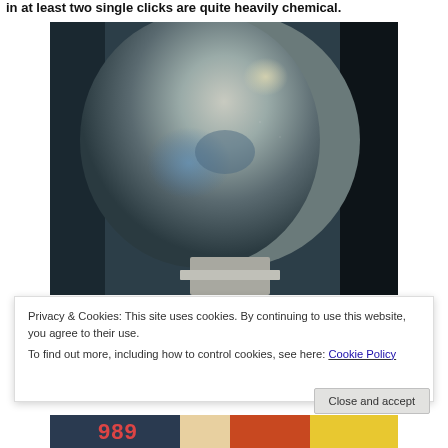in at least two single clicks are quite heavily chemical.
[Figure (photo): Close-up photograph of a large shiny metallic/glass spherical flask or vessel, with reflections visible on its surface, on a light-colored base, against a dark teal/blue background.]
Privacy & Cookies: This site uses cookies. By continuing to use this website, you agree to their use.
To find out more, including how to control cookies, see here: Cookie Policy
Close and accept
[Figure (photo): Partial view of a label or display showing '989' in orange/red text on a white background, with colorful elements below.]